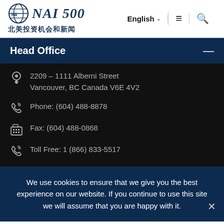NAI 500 北美投资机会和新闻 | English ≡ 🔍
Head Office
2209 – 1111 Alberni Street
Vancouver, BC Canada V6E 4V2
Phone: (604) 488-8878
Fax: (604) 488-0868
Toll Free: 1 (866) 833-5517
We use cookies to ensure that we give you the best experience on our website. If you continue to use this site we will assume that you are happy with it.